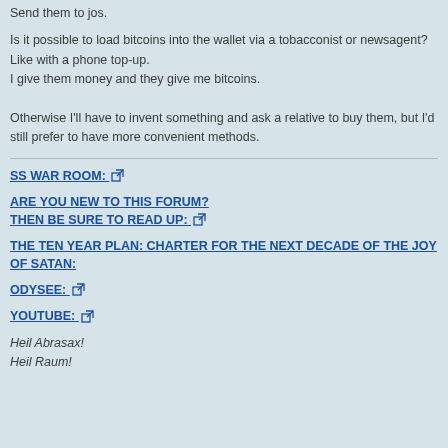Send them to jos.
Is it possible to load bitcoins into the wallet via a tobacconist or newsagent? Like with a phone top-up.
I give them money and they give me bitcoins.
Otherwise I'll have to invent something and ask a relative to buy them, but I'd still prefer to have more convenient methods.
SS WAR ROOM: [link]
ARE YOU NEW TO THIS FORUM?
THEN BE SURE TO READ UP: [link]
THE TEN YEAR PLAN: CHARTER FOR THE NEXT DECADE OF THE JOY OF SATAN:
ODYSEE: [link]
YOUTUBE: [link]
Heil Abrasax!
Heil Raum!